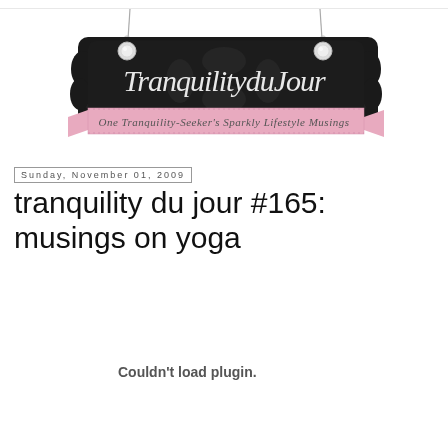[Figure (logo): Tranquility du Jour blog banner/logo — ornate black baroque frame with script text 'TranquilityduJour' and a pink ribbon banner below reading 'One Tranquility-Seeker's Sparkly Lifestyle Musings', hung from a chain with gem accents]
Sunday, November 01, 2009
tranquility du jour #165: musings on yoga
Couldn't load plugin.